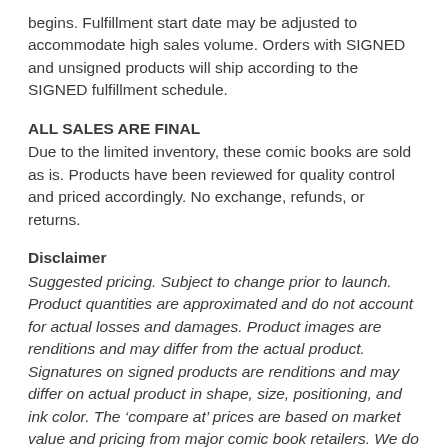begins. Fulfillment start date may be adjusted to accommodate high sales volume. Orders with SIGNED and unsigned products will ship according to the SIGNED fulfillment schedule.
ALL SALES ARE FINAL
Due to the limited inventory, these comic books are sold as is. Products have been reviewed for quality control and priced accordingly. No exchange, refunds, or returns.
Disclaimer
Suggested pricing. Subject to change prior to launch. Product quantities are approximated and do not account for actual losses and damages. Product images are renditions and may differ from the actual product. Signatures on signed products are renditions and may differ on actual product in shape, size, positioning, and ink color. The ‘compare at’ prices are based on market value and pricing from major comic book retailers. We do not combine orders.